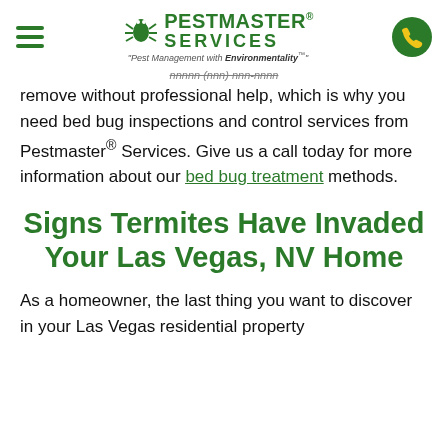Pestmaster Services — Pest Management with Environmentality
remove without professional help, which is why you need bed bug inspections and control services from Pestmaster® Services. Give us a call today for more information about our bed bug treatment methods.
Signs Termites Have Invaded Your Las Vegas, NV Home
As a homeowner, the last thing you want to discover in your Las Vegas residential property